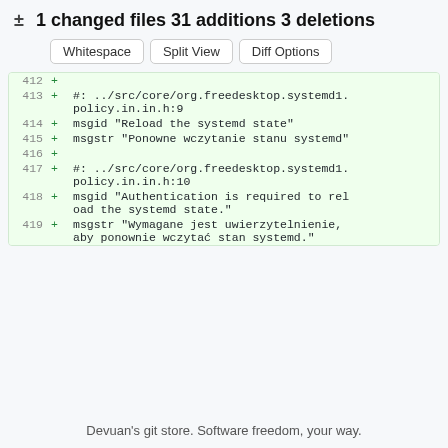± 1 changed files 31 additions 3 deletions
[Figure (screenshot): Three buttons: Whitespace, Split View, Diff Options]
[Figure (screenshot): Git diff showing added lines 412-419 with Polish translations for systemd policy strings]
Devuan's git store. Software freedom, your way.